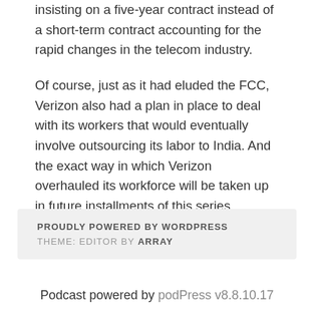insisting on a five-year contract instead of a short-term contract accounting for the rapid changes in the telecom industry.
Of course, just as it had eluded the FCC, Verizon also had a plan in place to deal with its workers that would eventually involve outsourcing its labor to India. And the exact way in which Verizon overhauled its workforce will be taken up in future installments of this series.
PROUDLY POWERED BY WORDPRESS
THEME: EDITOR BY ARRAY
Podcast powered by podPress v8.8.10.17